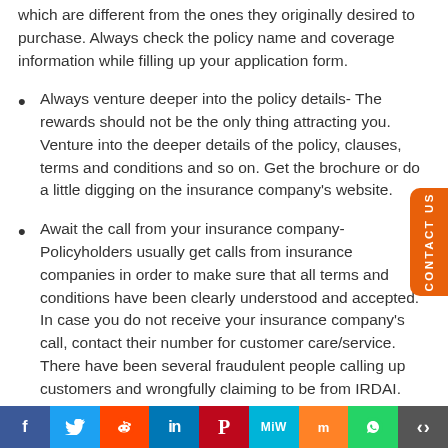which are different from the ones they originally desired to purchase. Always check the policy name and coverage information while filling up your application form.
Always venture deeper into the policy details- The rewards should not be the only thing attracting you. Venture into the deeper details of the policy, clauses, terms and conditions and so on. Get the brochure or do a little digging on the insurance company's website.
Await the call from your insurance company- Policyholders usually get calls from insurance companies in order to make sure that all terms and conditions have been clearly understood and accepted. In case you do not receive your insurance company's call, contact their number for customer care/service. There have been several fraudulent people calling up customers and wrongfully claiming to be from IRDAI. You should always remember that IRDAI does not make individual calls to customers...